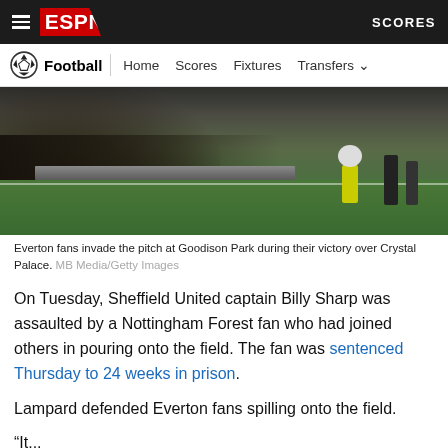ESPN — Football | Home Scores Fixtures Transfers — SCORES
[Figure (photo): Everton fans invading the pitch at Goodison Park, with photographers and a steward in yellow vest visible near the pitch perimeter.]
Everton fans invade the pitch at Goodison Park during their victory over Crystal Palace. MB Media/Getty Images
On Tuesday, Sheffield United captain Billy Sharp was assaulted by a Nottingham Forest fan who had joined others in pouring onto the field. The fan was sentenced Thursday to 24 weeks in prison.
Lampard defended Everton fans spilling onto the field.
"it...